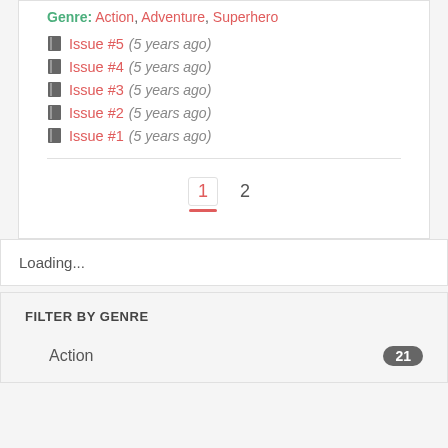Genre: Action, Adventure, Superhero
Issue #5 (5 years ago)
Issue #4 (5 years ago)
Issue #3 (5 years ago)
Issue #2 (5 years ago)
Issue #1 (5 years ago)
1  2
Loading...
FILTER BY GENRE
Action  21